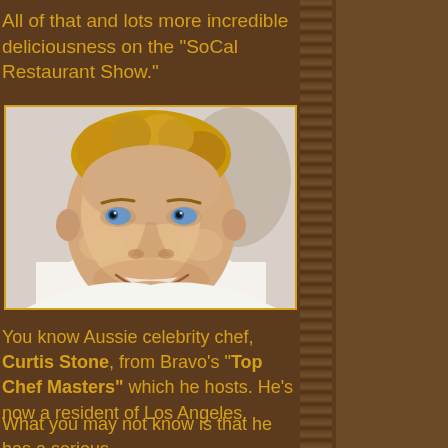All of that and lots more incredible deliciousness on the “SoCal Restaurant Show.”
[Figure (photo): Headshot of smiling blonde man (Curtis Stone), wearing white shirt, with blue eyes, photographed against a light background]
You know Aussie celebrity chef, Curtis Stone, from Bravo’s “Top Chef Masters” which he hosts. He’s now a resident of Los Angeles.
What you may not know is that he has a serious